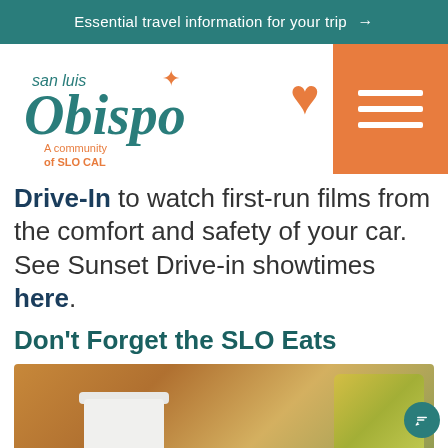Essential travel information for your trip →
[Figure (logo): San Luis Obispo - A community of SLO CAL logo with teal script text and orange star/bird accent]
Drive-In to watch first-run films from the comfort and safety of your car. See Sunset Drive-in showtimes here.
Don't Forget the SLO Eats
[Figure (photo): Photo of food and drinks on a table, featuring a white cup/bowl in foreground and colorful food items in background]